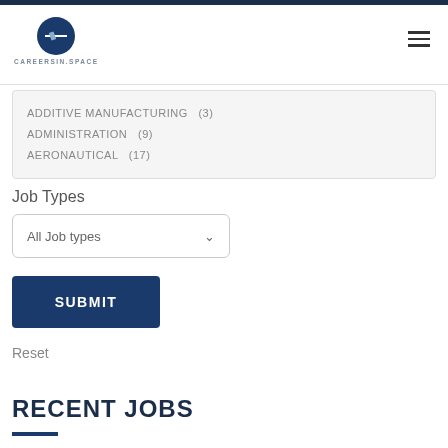CAREERSINSPACE
ADDITIVE MANUFACTURING  (3)
ADMINISTRATION  (9)
AERONAUTICAL  (17)
Job Types
All Job types
SUBMIT
Reset
RECENT JOBS